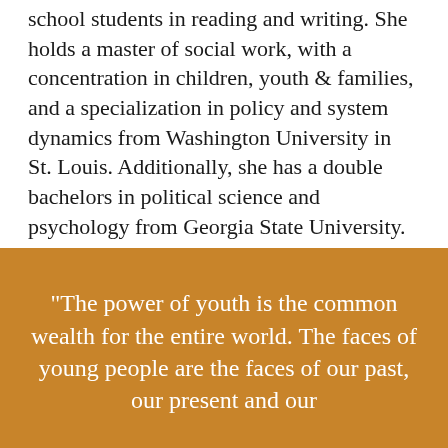school students in reading and writing. She holds a master of social work, with a concentration in children, youth & families, and a specialization in policy and system dynamics from Washington University in St. Louis. Additionally, she has a double bachelors in political science and psychology from Georgia State University.
"The power of youth is the common wealth for the entire world. The faces of young people are the faces of our past, our present and our